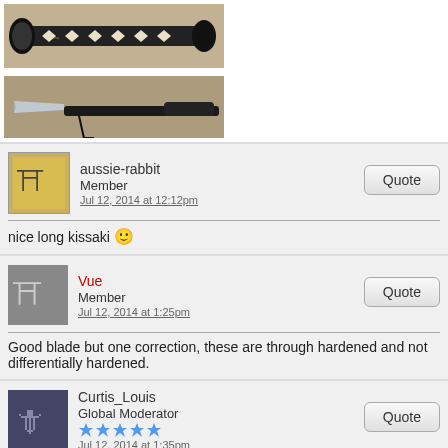[Figure (photo): Photo of a katana handle/tsuka with black wrapping and white diamond patterns, on carpet background]
[Figure (photo): Photo of a katana blade partially out of its black scabbard, on carpet background]
aussie-rabbit
Member
Jul 12, 2014 at 12:12pm
nice long kissaki 🙂
Vue
Member
Jul 12, 2014 at 1:25pm
Good blade but one correction, these are through hardened and not differentially hardened.
Curtis_Louis
Global Moderator
Jul 12, 2014 at 1:35pm